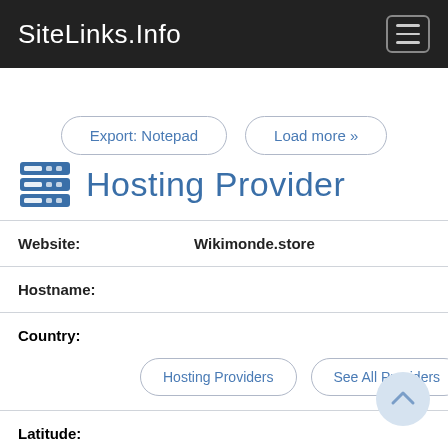SiteLinks.Info
Export: Notepad  Load more »
Hosting Provider
| Field | Value |
| --- | --- |
| Website: | Wikimonde.store |
| Hostname: |  |
| Country: |  |
| Latitude: |  |